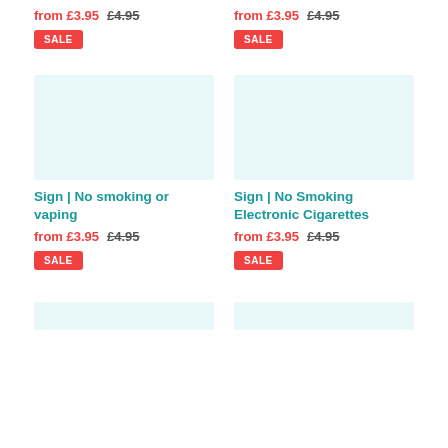from £3.95  £4.95
SALE
from £3.95  £4.95
SALE
[Figure (other): Light teal/mint colored product image placeholder, left column]
[Figure (other): Light teal/mint colored product image placeholder, right column]
Sign | No smoking or vaping
from £3.95  £4.95
SALE
Sign | No Smoking Electronic Cigarettes
from £3.95  £4.95
SALE
[Figure (other): Light teal/mint colored product image placeholder, left column bottom]
[Figure (other): Light teal/mint colored product image placeholder, right column bottom]